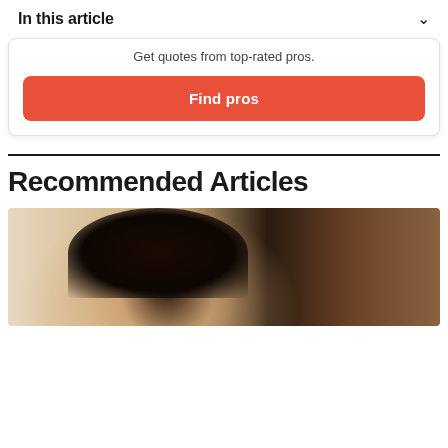In this article
Get quotes from top-rated pros.
Find pros
Recommended Articles
[Figure (photo): A woman with curly dark hair looking downward, seated at a desk with a dark chair frame visible in the background]